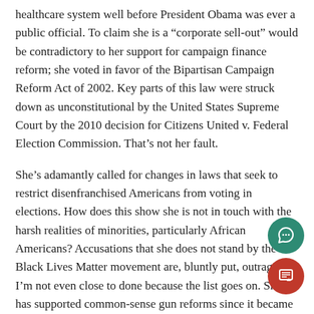healthcare system well before President Obama was ever a public official. To claim she is a “corporate sell-out” would be contradictory to her support for campaign finance reform; she voted in favor of the Bipartisan Campaign Reform Act of 2002. Key parts of this law were struck down as unconstitutional by the United States Supreme Court by the 2010 decision for Citizens United v. Federal Election Commission. That’s not her fault.
She’s adamantly called for changes in laws that seek to restrict disenfranchised Americans from voting in elections. How does this show she is not in touch with the harsh realities of minorities, particularly African Americans? Accusations that she does not stand by the Black Lives Matter movement are, bluntly put, outrageous. I’m not even close to done because the list goes on. She has supported common-sense gun reforms since it became a prevalent national concern. She’s consistently voted in favor of raising our federal minimum wage. Years before universal pre-K programs had even been talked about at a national in 2007 she proposed a $10 billion new federal education program expand pre-kindergarten to nearly all American children. No, she is for continual mass incarceration. In 2000, during a debate for the Senate seat in New York City, she expressed support for “drug courts,